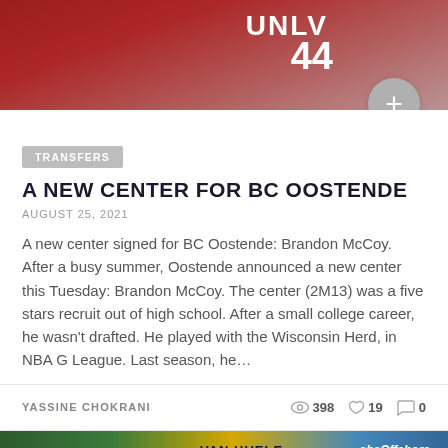[Figure (photo): Basketball player wearing UNLV #44 red jersey, crowd in background]
TRANSFERS
A NEW CENTER FOR BC OOSTENDE
AUGUST 25, 2021
A new center signed for BC Oostende: Brandon McCoy. After a busy summer, Oostende announced a new center this Tuesday: Brandon McCoy. The center (2M13) was a five stars recruit out of high school. After a small college career, he wasn't drafted. He played with the Wisconsin Herd, in NBA G League. Last season, he…
YASSINE CHOKRANI
398  19  0
[Figure (photo): Basketball players on court, Van Huele and ebaOffshore sponsors visible]